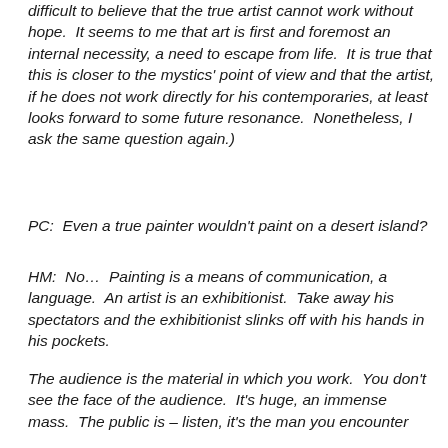difficult to believe that the true artist cannot work without hope.  It seems to me that art is first and foremost an internal necessity, a need to escape from life.  It is true that this is closer to the mystics' point of view and that the artist, if he does not work directly for his contemporaries, at least looks forward to some future resonance.  Nonetheless, I ask the same question again.)
PC:  Even a true painter wouldn't paint on a desert island?
HM:  No…  Painting is a means of communication, a language.  An artist is an exhibitionist.  Take away his spectators and the exhibitionist slinks off with his hands in his pockets.
The audience is the material in which you work.  You don't see the face of the audience.  It's huge, an immense mass.  The public is – listen, it's the man you encounter